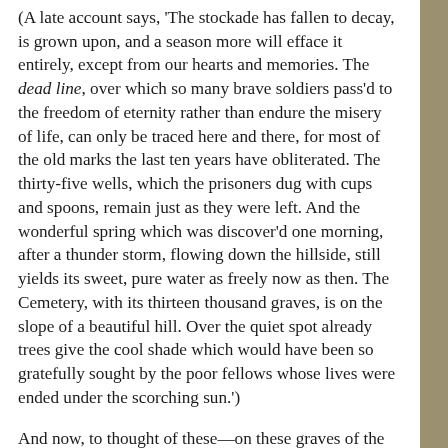(A late account says, 'The stockade has fallen to decay, is grown upon, and a season more will efface it entirely, except from our hearts and memories. The dead line, over which so many brave soldiers pass'd to the freedom of eternity rather than endure the misery of life, can only be traced here and there, for most of the old marks the last ten years have obliterated. The thirty-five wells, which the prisoners dug with cups and spoons, remain just as they were left. And the wonderful spring which was discover'd one morning, after a thunder storm, flowing down the hillside, still yields its sweet, pure water as freely now as then. The Cemetery, with its thirteen thousand graves, is on the slope of a beautiful hill. Over the quiet spot already trees give the cool shade which would have been so gratefully sought by the poor fellows whose lives were ended under the scorching sun.')
And now, to thought of these—on these graves of the dead of the War, as on an altar,—to